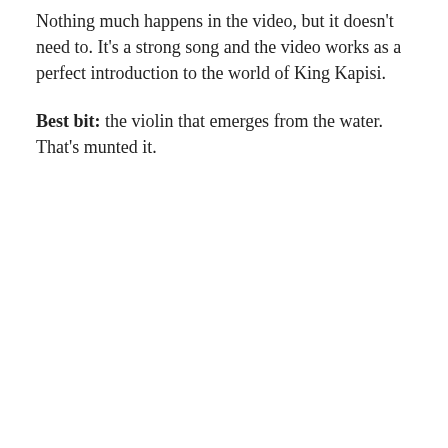Nothing much happens in the video, but it doesn't need to. It's a strong song and the video works as a perfect introduction to the world of King Kapisi.
Best bit: the violin that emerges from the water. That's munted it.